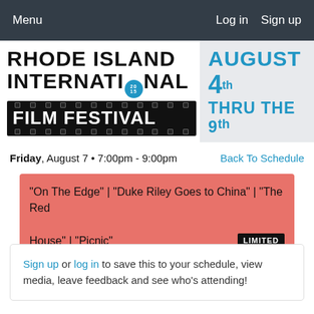Menu  Log in  Sign up
[Figure (logo): Rhode Island International Film Festival logo with film strip, 2015 badge, and 'August 4th Thru The 9th' date graphic]
Friday, August 7 • 7:00pm - 9:00pm
Back To Schedule
"On The Edge" | "Duke Riley Goes to China" | "The Red House" | "Picnic"  LIMITED
Sign up or log in to save this to your schedule, view media, leave feedback and see who's attending!